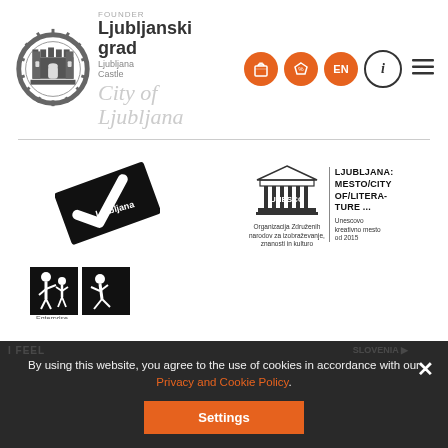[Figure (logo): Ljubljanski grad (Ljubljana Castle) logo with castle illustration and founder City of Ljubljana text]
[Figure (other): Navigation icons: orange shopping bag circle, orange ticket circle, orange EN language circle, black outlined info circle, hamburger menu]
[Figure (logo): Ljubljana checkmark logo in black diagonal ribbon style]
[Figure (logo): UNESCO logo with temple illustration and text: LJUBLJANA: MESTO/CITY OF/LITERA-TURE ... Organizacija Zdruenih narodov za izobrazevanje, znanosti in kulturo | Unescovo kreativno mesto od 2015]
[Figure (logo): Two icons in black squares showing accessibility/family figures, labeled Enterprise below]
By using this website, you agree to the use of cookies in accordance with our Privacy and Cookie Policy.
Settings